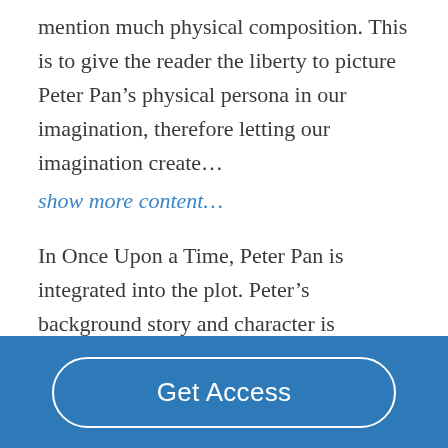mention much physical composition. This is to give the reader the liberty to picture Peter Pan's physical persona in our imagination, therefore letting our imagination create…
show more content…
In Once Upon a Time, Peter Pan is integrated into the plot. Peter's background story and character is impersonalized in this television series. Peter's character maintains some origination although, there is a shift from the
Get Access